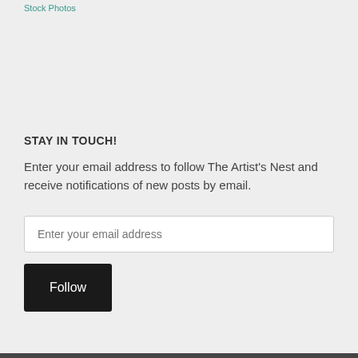Stock Photos
STAY IN TOUCH!
Enter your email address to follow The Artist's Nest and receive notifications of new posts by email.
Enter your email address
Follow